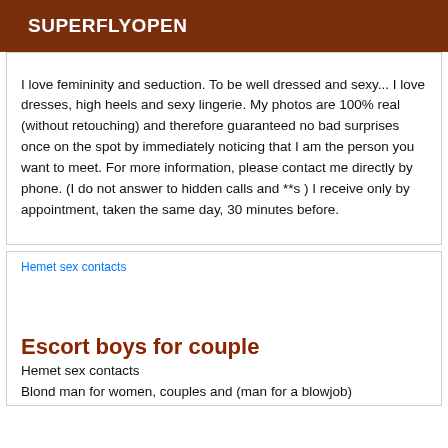SUPERFLYOPEN
I love femininity and seduction. To be well dressed and sexy... I love dresses, high heels and sexy lingerie. My photos are 100% real (without retouching) and therefore guaranteed no bad surprises once on the spot by immediately noticing that I am the person you want to meet. For more information, please contact me directly by phone. (I do not answer to hidden calls and **s ) I receive only by appointment, taken the same day, 30 minutes before.
[Figure (photo): Hemet sex contacts image placeholder]
Escort boys for couple
Hemet sex contacts
Blond man for women, couples and (man for a blowjob)